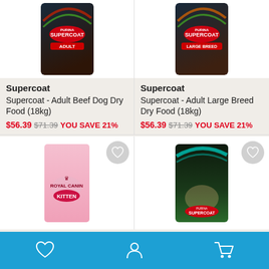[Figure (photo): Supercoat Adult Beef Dog Dry Food 18kg product image - dark colored bag with red/green accents]
[Figure (photo): Supercoat Adult Large Breed Dry Food 18kg product image - dark colored bag with orange/green accents]
Supercoat
Supercoat - Adult Beef Dog Dry Food (18kg)
$56.39 $71.39 YOU SAVE 21%
Supercoat
Supercoat - Adult Large Breed Dry Food (18kg)
$56.39 $71.39 YOU SAVE 21%
[Figure (photo): Royal Canin Kitten food product image - pink bag]
[Figure (photo): Supercoat Puppy dry food product image - black bag with puppy photo]